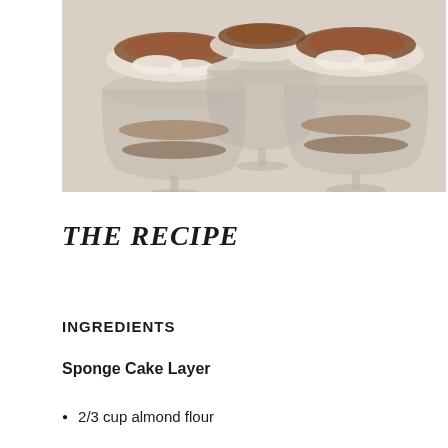[Figure (photo): Three glass goblets filled with tiramisu dessert, showing layers of cream and coffee-soaked cake with cocoa powder dusted on top, photographed against a light background.]
THE RECIPE
INGREDIENTS
Sponge Cake Layer
2/3 cup almond flour